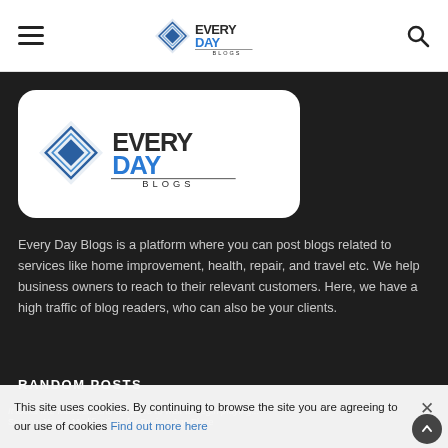Every Day Blogs — navigation bar with hamburger menu, logo, and search icon
[Figure (logo): Every Day Blogs logo on white rounded card — blue diamond icon with EVERYDAY BLOGS text]
Every Day Blogs is a platform where you can post blogs related to services like home improvement, health, repair, and travel etc. We help business owners to reach to their relevant customers. Here, we have a high traffic of blog readers, who can also be your clients.
RANDOM POSTS
This site uses cookies. By continuing to browse the site you are agreeing to our use of cookies Find out more here
It looks like Madden fans will need to wait to begin playing...
Sensory House Modifications for Seniors Age Place